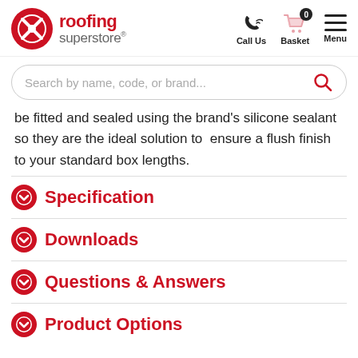roofing superstore® — Call Us | Basket (0) | Menu
be fitted and sealed using the brand's silicone sealant so they are the ideal solution to ensure a flush finish to your standard box lengths.
Specification
Downloads
Questions & Answers
Product Options